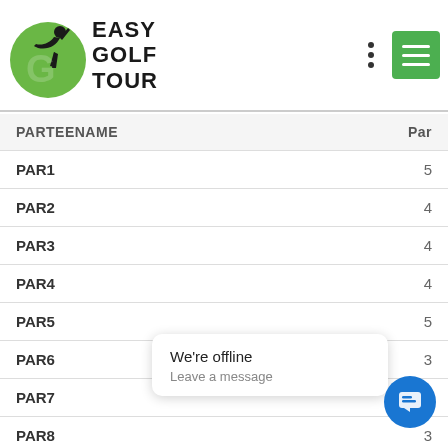[Figure (logo): Easy Golf Tour logo with green golfer silhouette and bold text EASY GOLF TOUR]
| PARTEENAME | Par |
| --- | --- |
| PAR1 | 5 |
| PAR2 | 4 |
| PAR3 | 4 |
| PAR4 | 4 |
| PAR5 | 5 |
| PAR6 | 3 |
| PAR7 | 4 |
| PAR8 | 3 |
| PAR9 | 4 |
| PAROUT |  |
| PAR10 | 4 |
We're offline
Leave a message